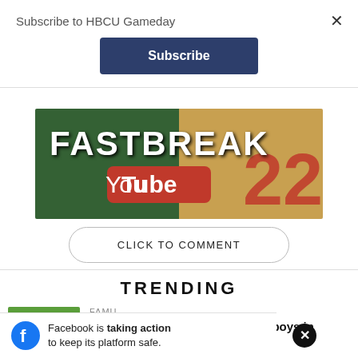Subscribe to HBCU Gameday
Subscribe
[Figure (screenshot): FASTBREAK YouTube banner image with basketball jersey number 22 in background]
CLICK TO COMMENT
TRENDING
FAMU
Marquese Bell leads Dallas Cowboys in
Facebook is taking action to keep its platform safe.